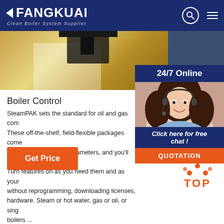FANGKUAI Clean Boiler System Supplier
[Figure (photo): Hero photo of industrial boiler installation in golden-toned room with black boiler unit visible at top, partially cropped]
[Figure (photo): 24/7 Online customer service panel with dark blue header, female agent with headset smiling, 'Click here for free chat!' label in dark blue, and orange QUOTATION button]
Boiler Control
SteamPAK sets the standard for oil and gas com... These off-the-shelf, field-flexible packages come... Just enter your boiler parameters, and you'll be... Turn features on as you need them and as your... without reprogramming, downloading licenses,... hardware. Steam or hot water, gas or oil, or sing... boilers ...
[Figure (other): Orange 'Get Price' button]
[Figure (other): Orange dotted arrow icon with 'TOP' text below in orange]